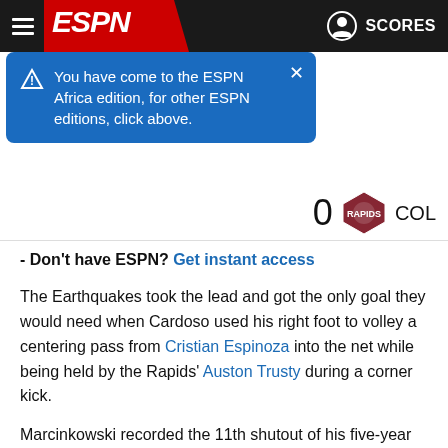[Figure (screenshot): ESPN website header with hamburger menu, ESPN logo on red background, and SCORES button with user icon on dark background]
[Figure (infographic): Blue notification banner: 'You have come to the ESPN Africa edition, for other ESPN editions, click above.' with a warning icon and close button (X)]
[Figure (logo): Colorado Rapids MLS team logo with score '0' and 'COL' abbreviation]
- Don't have ESPN? Get instant access
The Earthquakes took the lead and got the only goal they would need when Cardoso used his right foot to volley a centering pass from Cristian Espinoza into the net while being held by the Rapids' Auston Trusty during a corner kick.
Marcinkowski recorded the 11th shutout of his five-year MLS career.
Both teams nearly broke through in the late minutes of the scoreless first half. First, Colorado's Max Alves da Silva had his left-footed shot from inside the box stopped by